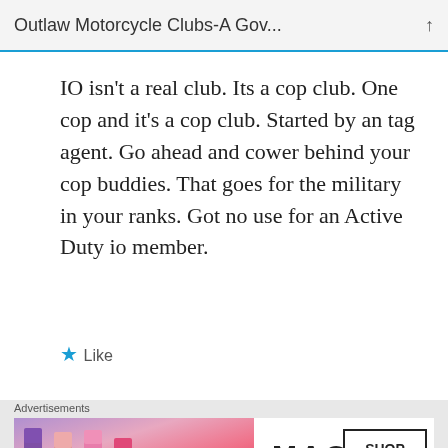Outlaw Motorcycle Clubs-A Gov...
IO isn’t a real club. Its a cop club. One cop and it’s a cop club. Started by an tag agent. Go ahead and cower behind your cop buddies. That goes for the military in your ranks. Got no use for an Active Duty io member.
★ Like
[Figure (other): Red decorative icon/dots]
Advertisements
[Figure (other): MAC cosmetics advertisement banner showing lipsticks and SHOP NOW button]